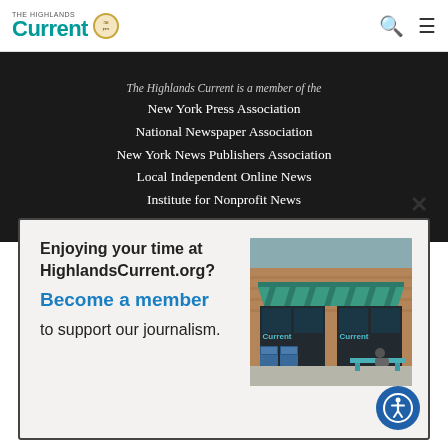The Highlands Current
The Highlands Current is a member of the New York Press Association National Newspaper Association New York News Publishers Association Local Independent Online News Institute for Nonprofit News
Enjoying your time at HighlandsCurrent.org? Become a member to support our journalism.
[Figure (photo): Storefront photo showing a brick building with teal/green awning, newsboxes labeled 'Current' in the foreground, and a person sitting on a bench]